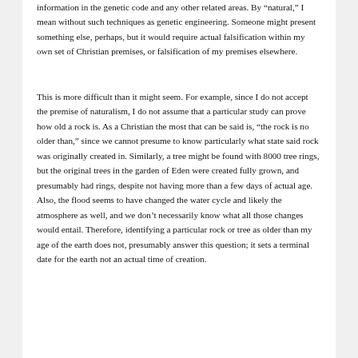information in the genetic code and any other related areas. By “natural,” I mean without such techniques as genetic engineering. Someone might present something else, perhaps, but it would require actual falsification within my own set of Christian premises, or falsification of my premises elsewhere.
This is more difficult than it might seem. For example, since I do not accept the premise of naturalism, I do not assume that a particular study can prove how old a rock is. As a Christian the most that can be said is, “the rock is no older than,” since we cannot presume to know particularly what state said rock was originally created in. Similarly, a tree might be found with 8000 tree rings, but the original trees in the garden of Eden were created fully grown, and presumably had rings, despite not having more than a few days of actual age. Also, the flood seems to have changed the water cycle and likely the atmosphere as well, and we don’t necessarily know what all those changes would entail. Therefore, identifying a particular rock or tree as older than my age of the earth does not, presumably answer this question; it sets a terminal date for the earth not an actual time of creation.